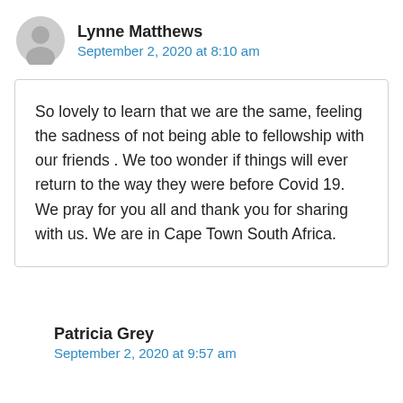Lynne Matthews
September 2, 2020 at 8:10 am
So lovely to learn that we are the same, feeling the sadness of not being able to fellowship with our friends . We too wonder if things will ever return to the way they were before Covid 19. We pray for you all and thank you for sharing with us. We are in Cape Town South Africa.
Patricia Grey
September 2, 2020 at 9:57 am